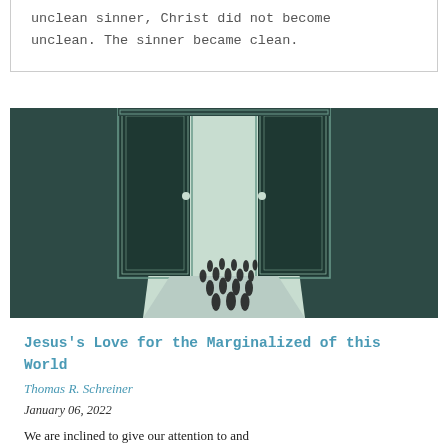unclean sinner, Christ did not become unclean. The sinner became clean.
[Figure (illustration): Illustration of two large open doors with ornate frames, dark teal/green background, with small silhouetted figures of people walking through the doorway into bright light beyond.]
Jesus’s Love for the Marginalized of this World
Thomas R. Schreiner
January 06, 2022
We are inclined to give our attention to and